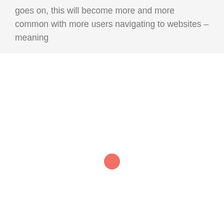goes on, this will become more and more common with more users navigating to websites – meaning
[Figure (other): A small red/coral filled circle, resembling a loading indicator, centered horizontally on the page.]